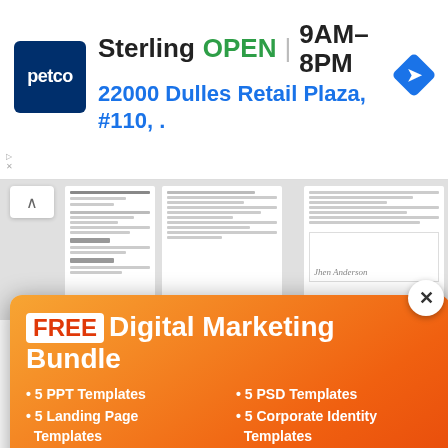[Figure (screenshot): Petco store ad banner showing Sterling location, OPEN 9AM-8PM, address 22000 Dulles Retail Plaza, #110]
[Figure (screenshot): Document preview thumbnails showing resume or letter pages]
[Figure (infographic): Orange popup modal offering FREE Digital Marketing Bundle with 5 PPT Templates, 5 PSD Templates, 5 Landing Page Templates, 5 Corporate Identity Templates, email input and Get Bundle button]
% modern, then Here you get a ome matching e files using trator, or cts are fully editable.